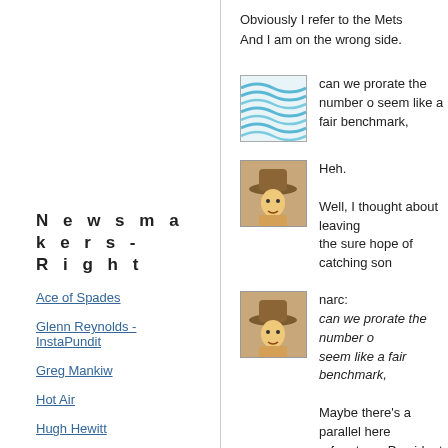Obviously I refer to the Mets And I am on the wrong side.
[Figure (illustration): Wave/water pattern image in teal/blue]
can we prorate the number o seem like a fair benchmark,
[Figure (photo): Child in cowboy hat photo]
Heh.

Well, I thought about leaving the sure hope of catching son
[Figure (photo): Child in cowboy hat photo]
narc:
can we prorate the number o seem like a fair benchmark,

Maybe there's a parallel here refers to as President Asteris asterisk angle into the post -
N e w s m a k e r s - R i g h t
Ace of Spades
Glenn Reynolds - InstaPundit
Greg Mankiw
Hot Air
Hugh Hewitt
Michelle Malkin
PoliPundit
Powerline
Red State
Roger Simon
Taegan Goddard's Political Wire